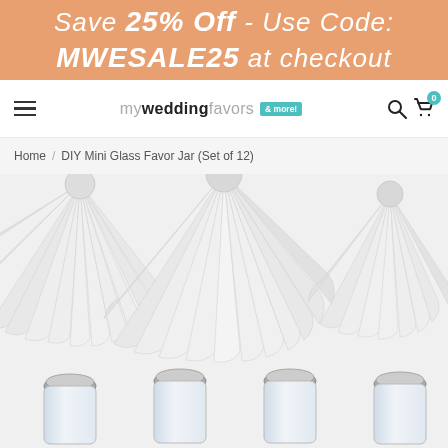Save 25% Off - Use Code: MWESALE25 at checkout
[Figure (screenshot): Navigation bar with hamburger menu, myweddingfavors & more! logo, search and cart icons]
Home / DIY Mini Glass Favor Jar (Set of 12)
[Figure (photo): Product photo of DIY Mini Glass Favor Jars with white decorative fan background and 4 small glass jars with metal lids at the bottom]